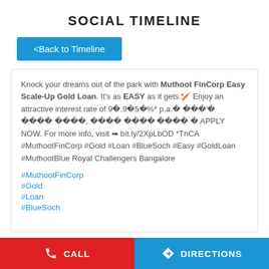SOCIAL TIMELINE
<Back to Timeline
Knock your dreams out of the park with Muthoot FinCorp Easy Scale-Up Gold Loan. It's as EASY as it gets.🏏 Enjoy an attractive interest rate of 9🔴.9🔵5🔴%* p.a.🔴 🔴🔴🔴'🔴 🔴🔴🔴🔴 🔴🔴🔴🔴, 🔴🔴🔴🔴 🔴🔴🔴🔴 🔴🔴🔴🔴 🔴 APPLY NOW. For more info, visit ➜ bit.ly/2XpLbOD *TnCA #MuthootFinCorp #Gold #Loan #BlueSoch #Easy #GoldLoan #MuthootBlue Royal Challengers Bangalore
#MuthootFinCorp
#Gold
#Loan
#BlueSoch
CALL   DIRECTIONS